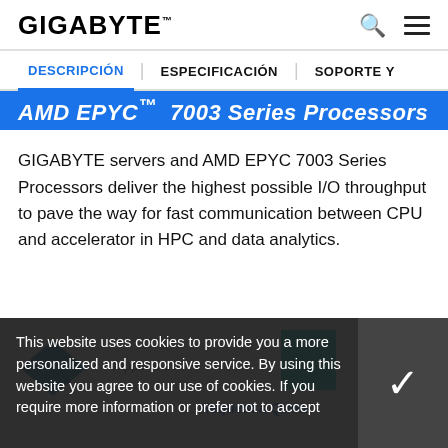GIGABYTE
DESCRIPCIÓN | ESPECIFICACIÓN | SOPORTE Y
AMD EPYC™ 7003 Series Processors
GIGABYTE servers and AMD EPYC 7003 Series Processors deliver the highest possible I/O throughput to pave the way for fast communication between CPU and accelerator in HPC and data analytics.
[Figure (infographic): Blue teal diamond/triangle icon partially visible at bottom of content area, with teal rectangle on right side]
This website uses cookies to provide you a more personalized and responsive service. By using this website you agree to our use of cookies. If you require more information or prefer not to accept